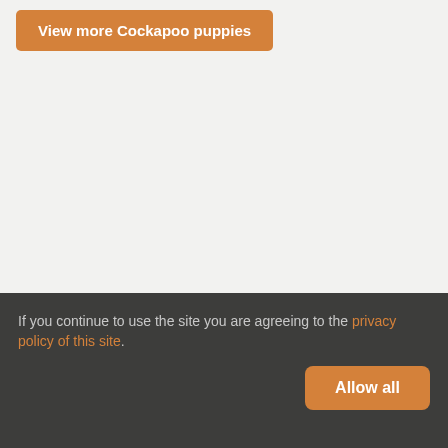View more Cockapoo puppies
If you continue to use the site you are agreeing to the privacy policy of this site.
Allow all